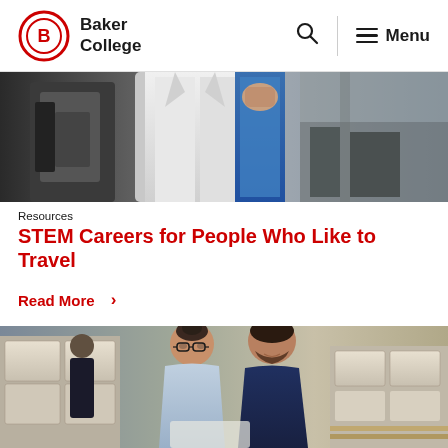Baker College
[Figure (photo): Close-up of people in lab coats, partially cropped, industrial/professional setting]
Resources
STEM Careers for People Who Like to Travel
Read More >
[Figure (photo): Two people (woman with glasses and man) looking at something together in a warehouse/industrial setting with stacked boxes and pallets]